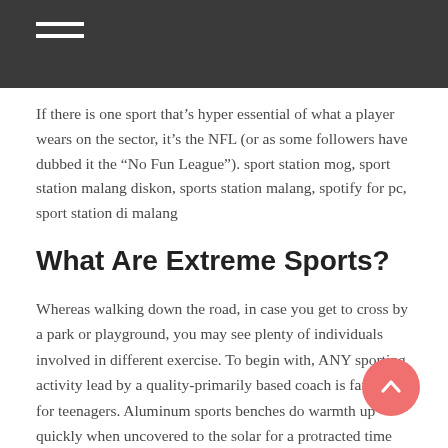If there is one sport that’s hyper essential of what a player wears on the sector, it’s the NFL (or as some followers have dubbed it the “No Fun League”). sport station mog, sport station malang diskon, sports station malang, spotify for pc, sport station di malang
What Are Extreme Sports?
Whereas walking down the road, in case you get to cross by a park or playground, you may see plenty of individuals involved in different exercise. To begin with, ANY sporting activity lead by a quality-primarily based coach is fantastic for teenagers. Aluminum sports benches do warmth up quickly when uncovered to the solar for a protracted time period, so it may be necessary to move them to a shaded space or let them quiet down earlier than sitting to